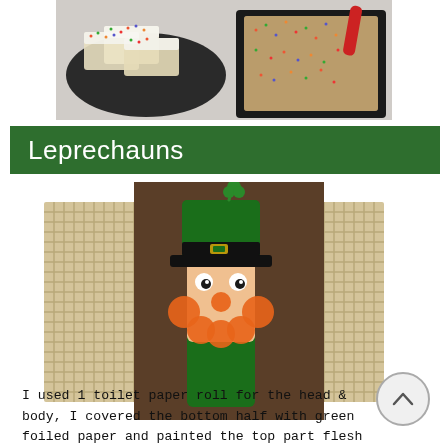[Figure (photo): Photo of rice crispy treats with white frosting and colorful sprinkles on a dark plate, alongside a baking tray full of sprinkled rice crispy mixture, with a red spatula handle visible.]
Leprechauns
[Figure (photo): Craft photo of a leprechaun made from a toilet paper roll, displayed against a burlap fabric background on a wooden table. The leprechaun has a green foiled bottom half body, flesh-painted top, a green top hat with a black band and gold buckle, a clover sticking out of the hat, orange pom pom beard and cheeks, a smaller orange pom pom nose, and googley eyes.]
I used 1 toilet paper roll for the head & body, I covered the bottom half with green foiled paper and painted the top part flesh tone, Orange Pom Poms for the beard and a smaller one for the nose, Googley Eyes and a